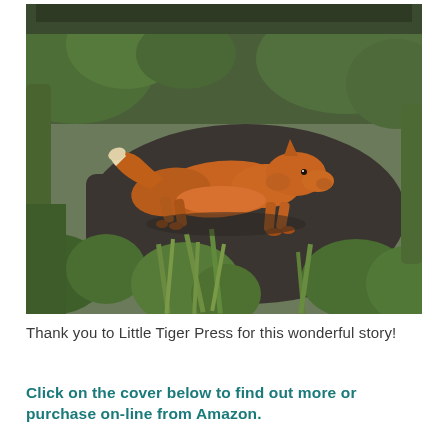[Figure (photo): A red fox cub walking through green vegetation and foliage on a garden path with dark soil.]
Thank you to Little Tiger Press for this wonderful story!
Click on the cover below to find out more or purchase on-line from Amazon.